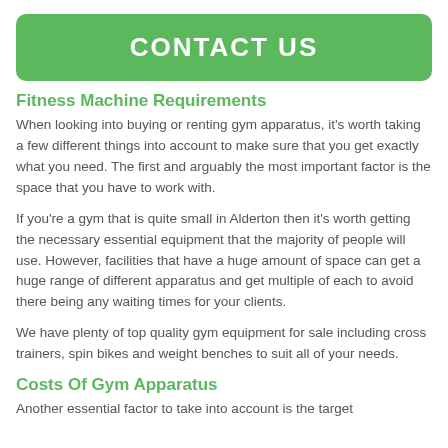CONTACT US
Fitness Machine Requirements
When looking into buying or renting gym apparatus, it's worth taking a few different things into account to make sure that you get exactly what you need. The first and arguably the most important factor is the space that you have to work with.
If you're a gym that is quite small in Alderton then it's worth getting the necessary essential equipment that the majority of people will use. However, facilities that have a huge amount of space can get a huge range of different apparatus and get multiple of each to avoid there being any waiting times for your clients.
We have plenty of top quality gym equipment for sale including cross trainers, spin bikes and weight benches to suit all of your needs.
Costs Of Gym Apparatus
Another essential factor to take into account is the target